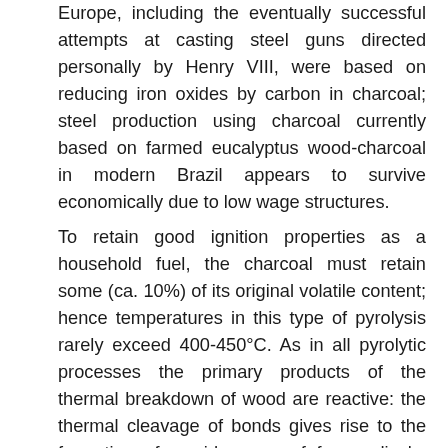Europe, including the eventually successful attempts at casting steel guns directed personally by Henry VIII, were based on reducing iron oxides by carbon in charcoal; steel production using charcoal currently based on farmed eucalyptus wood-charcoal in modern Brazil appears to survive economically due to low wage structures.
To retain good ignition properties as a household fuel, the charcoal must retain some (ca. 10%) of its original volatile content; hence temperatures in this type of pyrolysis rarely exceed 400-450°C. As in all pyrolytic processes the primary products of the thermal breakdown of wood are reactive: the thermal cleavage of bonds gives rise to the formation of a wide array of free radicals. Smaller free radical are highly reactive, with nano- or microsecond half-lives whilst larger free radicals,